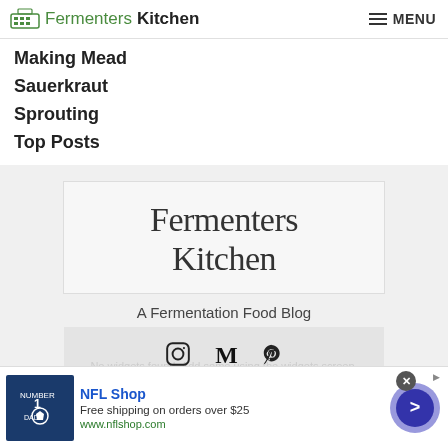Fermenters Kitchen — MENU
Making Mead
Sauerkraut
Sprouting
Top Posts
Fermenters Kitchen
A Fermentation Food Blog
[Figure (screenshot): Social media icons: Instagram, Medium, Pinterest with overlay text 'No widgets found']
[Figure (screenshot): NFL Shop advertisement banner: showing a Dallas Cowboys jersey, text 'NFL Shop', 'Free shipping on orders over $25', 'www.nflshop.com', with a blue arrow button and close X button]